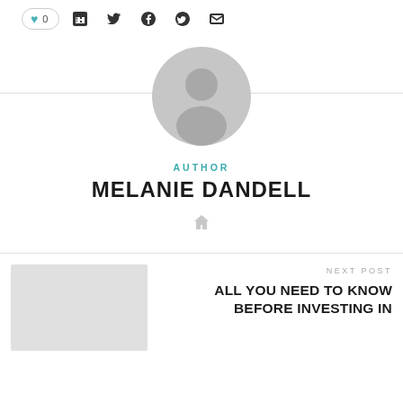[Figure (other): Author avatar placeholder circle with person silhouette in gray]
AUTHOR
MELANIE DANDELL
[Figure (other): Home icon in gray]
NEXT POST
ALL YOU NEED TO KNOW BEFORE INVESTING IN